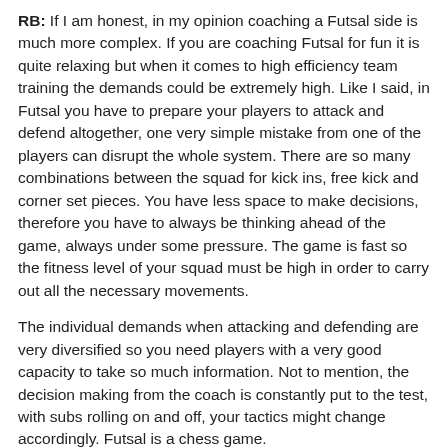RB: If I am honest, in my opinion coaching a Futsal side is much more complex. If you are coaching Futsal for fun it is quite relaxing but when it comes to high efficiency team training the demands could be extremely high. Like I said, in Futsal you have to prepare your players to attack and defend altogether, one very simple mistake from one of the players can disrupt the whole system. There are so many combinations between the squad for kick ins, free kick and corner set pieces. You have less space to make decisions, therefore you have to always be thinking ahead of the game, always under some pressure. The game is fast so the fitness level of your squad must be high in order to carry out all the necessary movements.
The individual demands when attacking and defending are very diversified so you need players with a very good capacity to take so much information. Not to mention, the decision making from the coach is constantly put to the test, with subs rolling on and off, your tactics might change accordingly. Futsal is a chess game.
BfF: Are there benefits that players of regular football